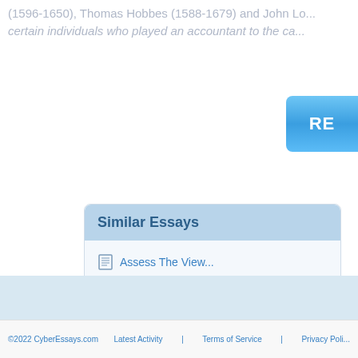(1596-1650), Thomas Hobbes (1588-1679) and John Lo... certain individuals who played an accountant to the ca...
Similar Essays
Assess The View...
Science...
Philosophy Of Science
Big Bang Theory...
Science
©2022 CyberEssays.com   Latest Activity | Terms of Service | Privacy Poli...